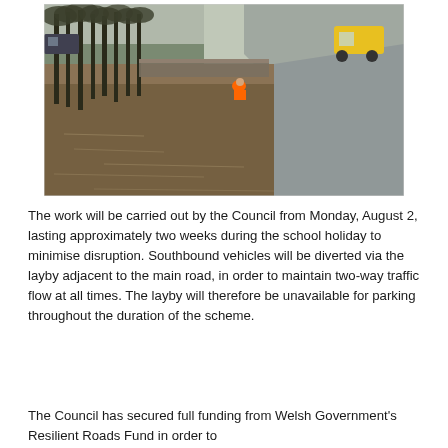[Figure (photo): A flooded road scene showing murky brown floodwater covering part of a road and pavement area lined with bare trees on the left. A worker in an orange high-visibility jacket crouches near the water's edge in the middle distance. The right side of the road is above water, with a yellow vehicle visible further up the road where it curves away.]
The work will be carried out by the Council from Monday, August 2, lasting approximately two weeks during the school holiday to minimise disruption. Southbound vehicles will be diverted via the layby adjacent to the main road, in order to maintain two-way traffic flow at all times. The layby will therefore be unavailable for parking throughout the duration of the scheme.
The Council has secured full funding from Welsh Government's Resilient Roads Fund in order to